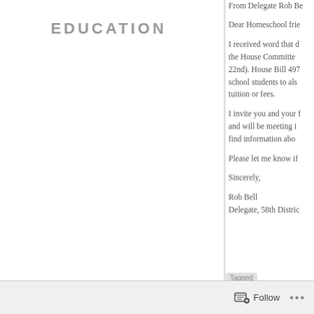EDUCATION
From Delegate Rob Bell
Dear Homeschool frie
I received word that d the House Committe 22nd). House Bill 497 school students to als tuition or fees.
I invite you and your f and will be meeting i find information abo
Please let me know if
Sincerely,
Rob Bell
Delegate, 58th Distric
Follow ...